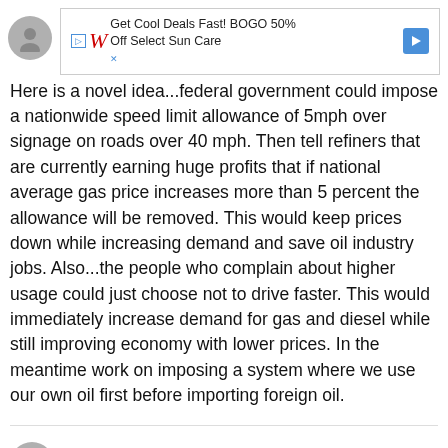[Figure (other): Walgreens advertisement banner: Get Cool Deals Fast! BOGO 50% Off Select Sun Care, with Walgreens W logo and navigation arrow]
Here is a novel idea...federal government could impose a nationwide speed limit allowance of 5mph over signage on roads over 40 mph. Then tell refiners that are currently earning huge profits that if national average gas price increases more than 5 percent the allowance will be removed. This would keep prices down while increasing demand and save oil industry jobs. Also...the people who complain about higher usage could just choose not to drive faster. This would immediately increase demand for gas and diesel while still improving economy with lower prices. In the meantime work on imposing a system where we use our own oil first before importing foreign oil.
Mick on March 14 2015 said: